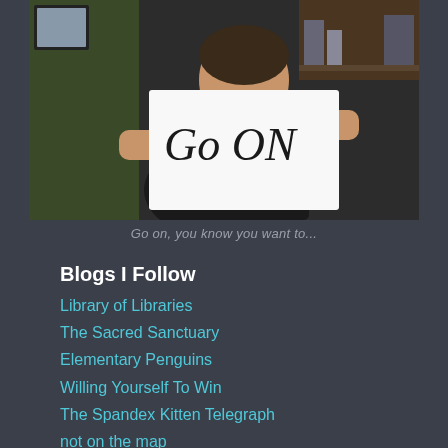[Figure (photo): Person sitting at a desk holding up a sign that reads 'Go ON' in handwritten text. Background shows a room with green wallpaper and shelves.]
Go on, you know you want to...
Blogs I Follow
Library of Libraries
The Sacred Sanctuary
Elementary Penguins
Willing Yourself To Win
The Spandex Kitten Telegraph
not on the map
NOT A LOT OF PEOPLE KNOW THAT
Gastradamus